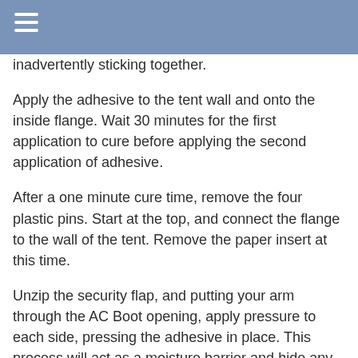inadvertently sticking together.
Apply the adhesive to the tent wall and onto the inside flange. Wait 30 minutes for the first application to cure before applying the second application of adhesive.
After a one minute cure time, remove the four plastic pins. Start at the top, and connect the flange to the wall of the tent. Remove the paper insert at this time.
Unzip the security flap, and putting your arm through the AC Boot opening, apply pressure to each side, pressing the adhesive in place. This process will act as a moisture barrier and hide any imperfections that may have been caused when the tent material was cut away.
STEP #6: 24-Hour Adhesive Cure
Although your Official AC Boot is installed, it has not been